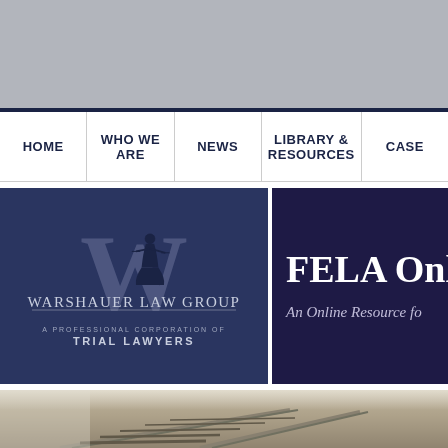[Figure (screenshot): Gray banner at top of webpage]
HOME | WHO WE ARE | NEWS | LIBRARY & RESOURCES | CASE
[Figure (logo): Warshauer Law Group logo - large W with lady justice figure, text 'Warshauer Law Group', 'A Professional Corporation of Trial Lawyers' on dark navy background]
[Figure (logo): FELA Online banner - text 'FELA Onlin' and 'An Online Resource fo' on dark purple/navy background]
[Figure (photo): Photograph of railroad tracks from low angle perspective]